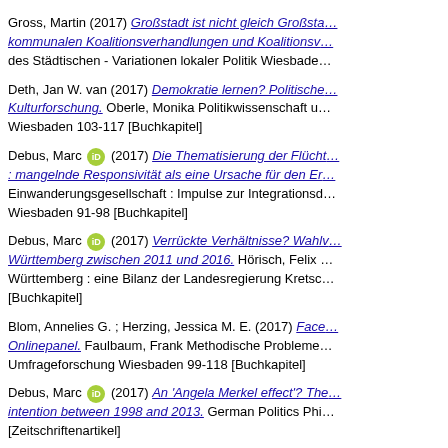Gross, Martin (2017) Großstadt ist nicht gleich Großstadt ... kommunalen Koalitionsverhandlungen und Koalitionsw... des Städtischen - Variationen lokaler Politik Wiesbaden
Deth, Jan W. van (2017) Demokratie lernen? Politische... Kulturforschung. Oberle, Monika Politikwissenschaft u... Wiesbaden 103-117 [Buchkapitel]
Debus, Marc [orcid] (2017) Die Thematisierung der Flücht... : mangelnde Responsivität als eine Ursache für den Er... Einwanderungsgesellschaft : Impulse zur Integrationsd... Wiesbaden 91-98 [Buchkapitel]
Debus, Marc [orcid] (2017) Verrückte Verhältnisse? Wahlv... Württemberg zwischen 2011 und 2016. Hörisch, Felix ... Württemberg : eine Bilanz der Landesregierung Kretsc... [Buchkapitel]
Blom, Annelies G. ; Herzing, Jessica M. E. (2017) Face... Onlinepanel. Faulbaum, Frank Methodische Probleme... Umfrageforschung Wiesbaden 99-118 [Buchkapitel]
Debus, Marc [orcid] (2017) An 'Angela Merkel effect'? The... intention between 1998 and 2013. German Politics Phi... [Zeitschriftenartikel]
Munzert, Simon (2017) Forecasting elections at the co...